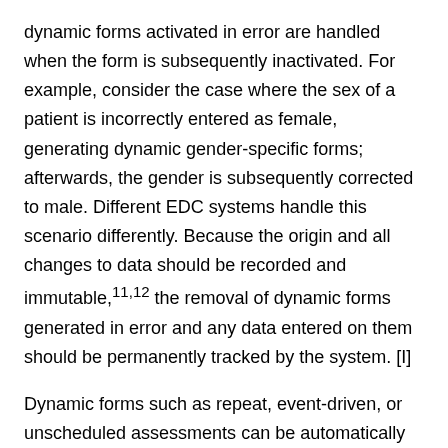dynamic forms activated in error are handled when the form is subsequently inactivated. For example, consider the case where the sex of a patient is incorrectly entered as female, generating dynamic gender-specific forms; afterwards, the gender is subsequently corrected to male. Different EDC systems handle this scenario differently. Because the origin and all changes to data should be recorded and immutable,11,12 the removal of dynamic forms generated in error and any data entered on them should be permanently tracked by the system. [I]
Dynamic forms such as repeat, event-driven, or unscheduled assessments can be automatically triggered as just described or they can be manually triggered. Some EDC systems support repeat form functionality where a form can be set up to allow site users to manually trigger a new instance of the form. For example, some studies may allow for or require repeat